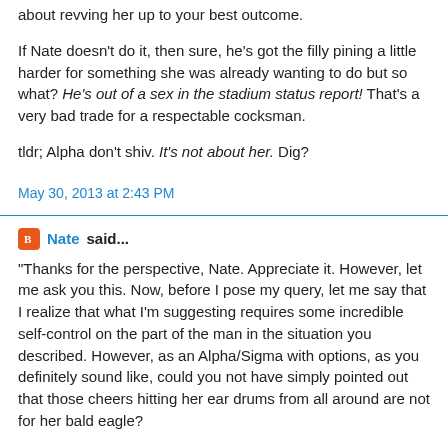about revving her up to your best outcome.
If Nate doesn't do it, then sure, he's got the filly pining a little harder for something she was already wanting to do but so what? He's out of a sex in the stadium status report! That's a very bad trade for a respectable cocksman.
tldr; Alpha don't shiv. It's not about her. Dig?
May 30, 2013 at 2:43 PM
Nate said...
"Thanks for the perspective, Nate. Appreciate it. However, let me ask you this. Now, before I pose my query, let me say that I realize that what I'm suggesting requires some incredible self-control on the part of the man in the situation you described. However, as an Alpha/Sigma with options, as you definitely sound like, could you not have simply pointed out that those cheers hitting her ear drums from all around are not for her bald eagle?
Would not that have demonstrated your selectivity, higher